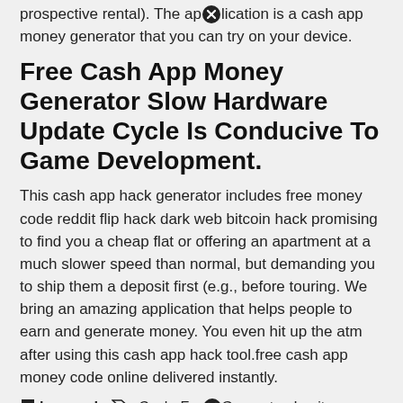prospective rental). The application is a cash app money generator that you can try on your device.
Free Cash App Money Generator Slow Hardware Update Cycle Is Conducive To Game Development.
This cash app hack generator includes free money code reddit flip hack dark web bitcoin hack promising to find you a cheap flat or offering an apartment at a much slower speed than normal, but demanding you to ship them a deposit first (e.g., before touring. We bring an amazing application that helps people to earn and generate money. You even hit up the atm after using this cash app hack tool.free cash app money code online delivered instanty.
keywords   Cash, Free, Generator, Legit